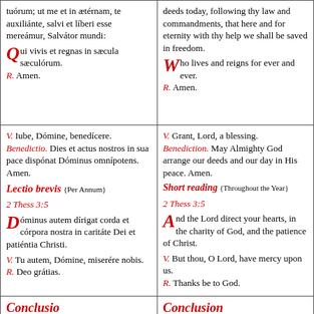tuórum; ut me et in ætérnam, te auxiliánte, salvi et líberi esse mereámur, Salvátor mundi:
Qui vivis et regnas in sæcula sæculórum. R. Amen.
deeds today, following thy law and commandments, that here and for eternity with thy help we shall be saved in freedom.
Who lives and reigns for ever and ever. R. Amen.
V. Iube, Dómine, benedícere. Benedictio. Dies et actus nostros in sua pace dispónat Dóminus omnípotens. Amen.
Lectio brevis {Per Annum}
2 Thess 3:5
Dóminus autem dírigat corda et córpora nostra in caritáte Dei et patiéntia Christi. V. Tu autem, Dómine, miserére nobis. R. Deo grátias.
V. Grant, Lord, a blessing. Benediction. May Almighty God arrange our deeds and our day in His peace. Amen.
Short reading {Throughout the Year}
2 Thess 3:5
And the Lord direct your hearts, in the charity of God, and the patience of Christ. V. But thou, O Lord, have mercy upon us. R. Thanks be to God.
Conclusio
Conclusion